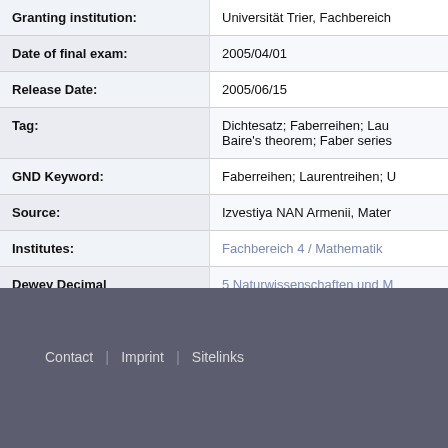| Field | Value |
| --- | --- |
| Granting institution: | Universität Trier, Fachbereich |
| Date of final exam: | 2005/04/01 |
| Release Date: | 2005/06/15 |
| Tag: | Dichtesatz; Faberreihen; Lau
Baire's theorem; Faber series |
| GND Keyword: | Faberreihen; Laurentreihen; U |
| Source: | Izvestiya NAN Armenii, Mater |
| Institutes: | Fachbereich 4 / Mathematik |
| Dewey Decimal Classification: | 5 Naturwissenschaften und M |
Contact | Imprint | Sitelinks